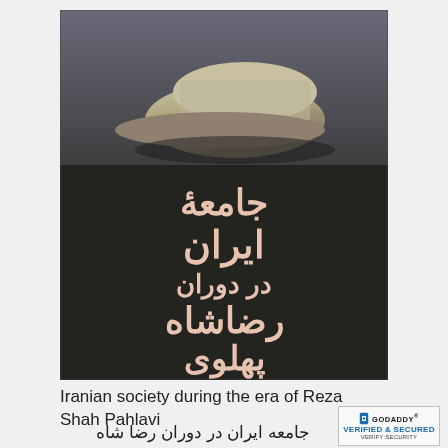[Figure (photo): Book cover of 'Iranian society during the era of Reza Shah Pahlavi' — dark background with a military cap on top half and large Persian/Farsi title text in pink on dark background, with author name احسان طبری (Ehsan Tabari) at the bottom of the cover.]
Iranian society during the era of Reza Shah Pahlavi
جامعه ایران در دوران رضا شاه